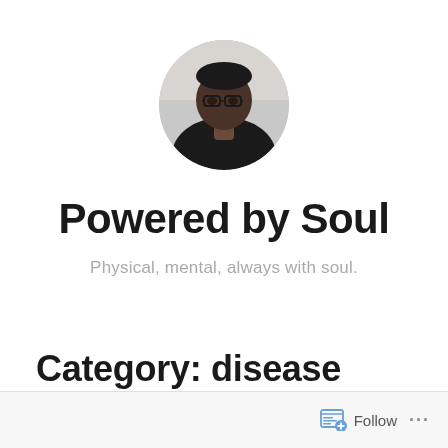[Figure (photo): Circular profile photo of a person wearing glasses and a dark top, with a light background]
Powered by Soul
Physical, mental, always with soul.
Category: disease
Follow ...